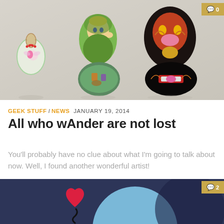[Figure (photo): Zelda-themed decorative figurines/nesting dolls on a light gray background. Includes a fairy in a bottle, Link figure, Ganondorf figure split open, and other game character items.]
GEEK STUFF / NEWS  JANUARY 19, 2014
All who wAnder are not lost
You'll probably have no clue about what I'm going to talk about now. Well, I found another wonderful artist!
[Figure (illustration): Dark blue/navy background illustration with a large light blue circle, a red heart shape, and a small black squiggly element. Partial view of bottom of page.]